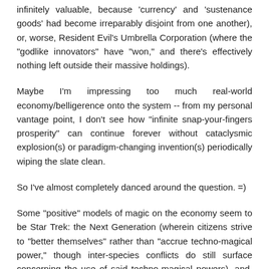infinitely valuable, because 'currency' and 'sustenance goods' had become irreparably disjoint from one another), or, worse, Resident Evil's Umbrella Corporation (where the "godlike innovators" have "won," and there's effectively nothing left outside their massive holdings).
Maybe I'm impressing too much real-world economy/belligerence onto the system -- from my personal vantage point, I don't see how "infinite snap-your-fingers prosperity" can continue forever without cataclysmic explosion(s) or paradigm-changing invention(s) periodically wiping the slate clean.
So I've almost completely danced around the question. =)
Some "positive" models of magic on the economy seem to be Star Trek: the Next Generation (wherein citizens strive to "better themselves" rather than "accrue techno-magical power," though inter-species conflicts do still surface concerning the use of said techno-magical powers), and, more intriguingly, Gibson/Sterling's _Difference Engine_ novel, depicting an alt-historic Britain wherein